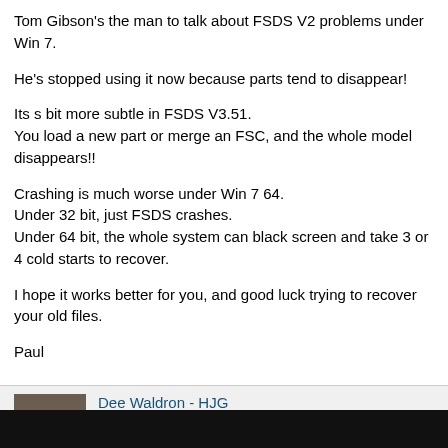Tom Gibson's the man to talk about FSDS V2 problems under Win 7.
He's stopped using it now because parts tend to disappear!
Its s bit more subtle in FSDS V3.51.
You load a new part or merge an FSC, and the whole model disappears!!
Crashing is much worse under Win 7 64.
Under 32 bit, just FSDS crashes.
Under 64 bit, the whole system can black screen and take 3 or 4 cold starts to recover.
I hope it works better for you, and good luck trying to recover your old files.
Paul
Dee Waldron - HJG
TriStar
★★★★★
Jun 21, 2011 at 8:15am
Thanks Paul. I'll experiment with that tonight. 🙂
Dee